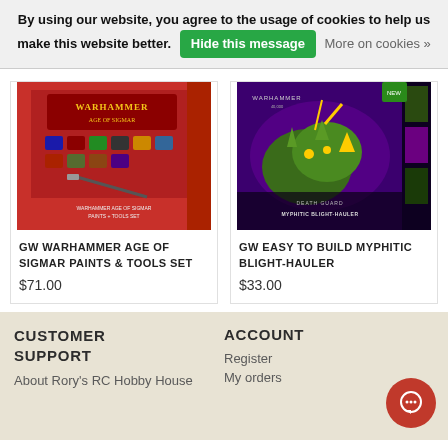By using our website, you agree to the usage of cookies to help us make this website better. Hide this message  More on cookies »
[Figure (photo): GW Warhammer Age of Sigmar Paints & Tools Set product box image]
GW WARHAMMER AGE OF SIGMAR PAINTS & TOOLS SET
$71.00
[Figure (photo): GW Easy to Build Myphitic Blight-Hauler product box image with purple background]
GW EASY TO BUILD MYPHITIC BLIGHT-HAULER
$33.00
CUSTOMER SUPPORT
About Rory's RC Hobby House
ACCOUNT
Register
My orders